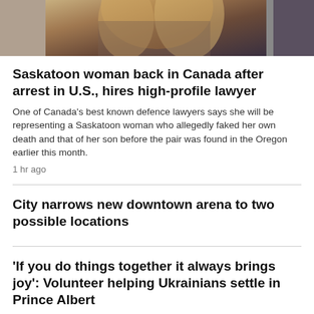[Figure (photo): Partial photo of a woman with long blonde hair, cropped to show hair and dark clothing, top portion cut off]
Saskatoon woman back in Canada after arrest in U.S., hires high-profile lawyer
One of Canada's best known defence lawyers says she will be representing a Saskatoon woman who allegedly faked her own death and that of her son before the pair was found in the Oregon earlier this month.
1 hr ago
City narrows new downtown arena to two possible locations
'If you do things together it always brings joy': Volunteer helping Ukrainians settle in Prince Albert
1 hr ago